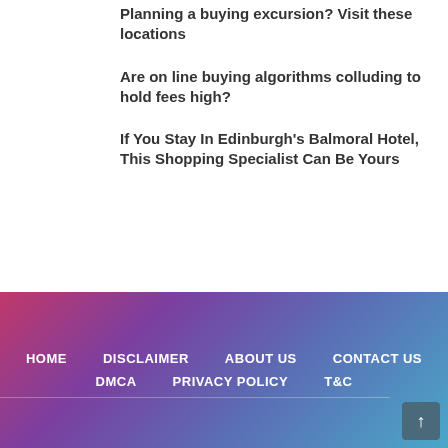Planning a buying excursion? Visit these locations
Are on line buying algorithms colluding to hold fees high?
If You Stay In Edinburgh's Balmoral Hotel, This Shopping Specialist Can Be Yours
HOME   DISCLAIMER   ABOUT US   CONTACT US   DMCA   PRIVACY POLICY   T&C